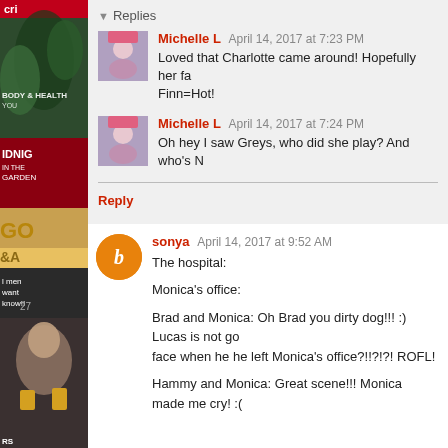[Figure (photo): Left sidebar showing stacked magazine covers with dark background]
Replies
Michelle L  April 14, 2017 at 7:23 PM
Loved that Charlotte came around! Hopefully her fa... Finn=Hot!
Michelle L  April 14, 2017 at 7:24 PM
Oh hey I saw Greys, who did she play? And who's N
Reply
sonya  April 14, 2017 at 9:52 AM
The hospital:

Monica's office:

Brad and Monica: Oh Brad you dirty dog!!! :) Lucas is not go... face when he he left Monica's office?!!?!?! ROFL!

Hammy and Monica: Great scene!!! Monica made me cry! :(